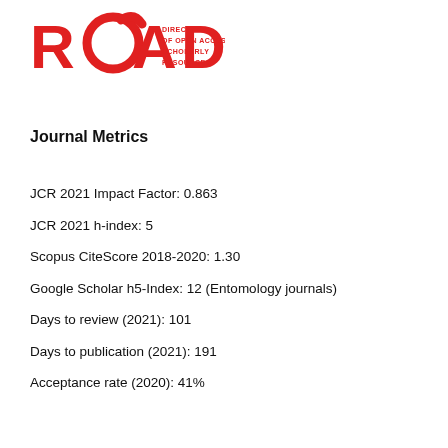[Figure (logo): ROAD logo — Directory of Open Access Scholarly Resources — red lettering]
Journal Metrics
JCR 2021 Impact Factor: 0.863
JCR 2021 h-index: 5
Scopus CiteScore 2018-2020: 1.30
Google Scholar h5-Index: 12 (Entomology journals)
Days to review (2021): 101
Days to publication (2021): 191
Acceptance rate (2020): 41%